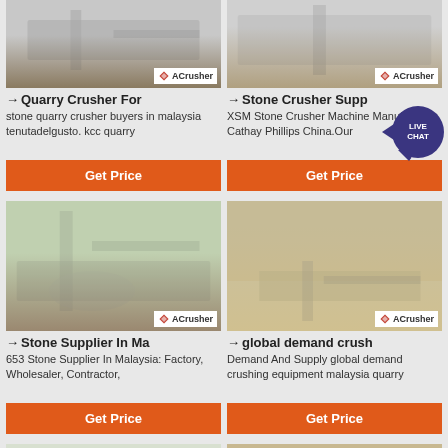[Figure (photo): Quarry crusher machinery at a quarry site with ACrusher logo]
→ Quarry Crusher For
stone quarry crusher buyers in malaysia tenutadelgusto. kcc quarry
Get Price
[Figure (photo): Stone crusher machine at site with ACrusher logo]
→ Stone Crusher Supp
XSM Stone Crusher Machine Manufacturer Cathay Phillips China.Our
Get Price
[Figure (photo): Stone supplier site in Malaysia with crusher machinery, ACrusher logo]
→ Stone Supplier In Ma
653 Stone Supplier In Malaysia: Factory, Wholesaler, Contractor,
Get Price
[Figure (photo): Global demand crusher equipment at quarry site, ACrusher logo]
→ global demand crush
Demand And Supply global demand crushing equipment malaysia quarry
Get Price
[Figure (photo): Partial view of stone supplier machinery in Malaysia]
[Figure (photo): Partial view of conveyor belt at quarry]